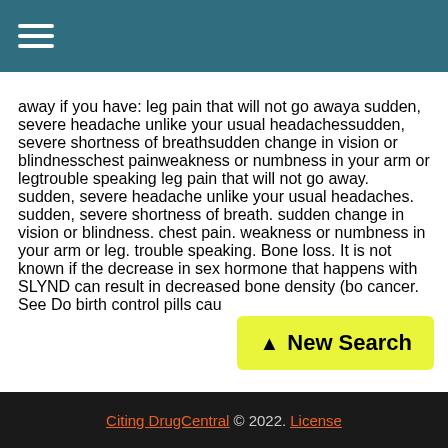☰
away if you have: leg pain that will not go awaya sudden, severe headache unlike your usual headachessudden, severe shortness of breathsudden change in vision or blindnesschest painweakness or numbness in your arm or legtrouble speaking leg pain that will not go away. sudden, severe headache unlike your usual headaches. sudden, severe shortness of breath. sudden change in vision or blindness. chest pain. weakness or numbness in your arm or leg. trouble speaking. Bone loss. It is not known if the decrease in sex hormone that happens with SLYND can result in decreased bone density (bo… cancer. See Do birth control pills cau…
[Figure (other): New Search button with upward arrow, yellow-green background]
Citing DrugCentral © 2022. License